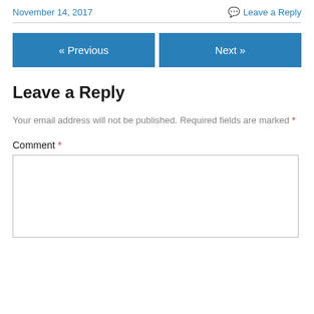November 14, 2017
Leave a Reply
« Previous
Next »
Leave a Reply
Your email address will not be published. Required fields are marked *
Comment *